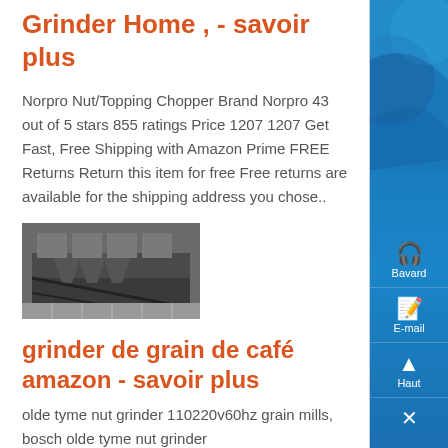Grinder Home , - savoir plus
Norpro Nut/Topping Chopper Brand Norpro 43 out of 5 stars 855 ratings Price 1207 1207 Get Fast, Free Shipping with Amazon Prime FREE Returns Return this item for free Free returns are available for the shipping address you chose..
[Figure (photo): Industrial grinder or crusher machine in a factory or warehouse setting]
grinder de grain de café amazon - savoir plus
olde tyme nut grinder 110220v60hz grain mills, bosch olde tyme nut grinder